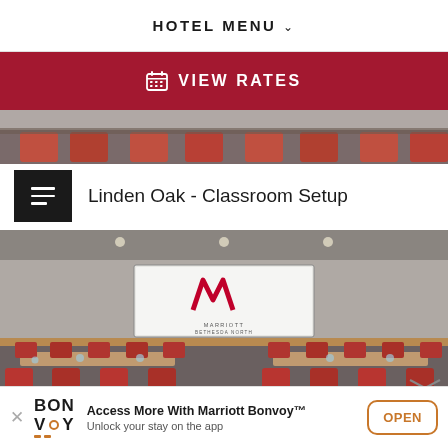HOTEL MENU
VIEW RATES
[Figure (photo): Partial view of conference room with red/orange chairs, top of image]
Linden Oak - Classroom Setup
[Figure (photo): Marriott Bethesda North conference room in classroom setup with projection screen showing Marriott logo, rows of tables with red chairs and place settings]
Access More With Marriott Bonvoy™ Unlock your stay on the app